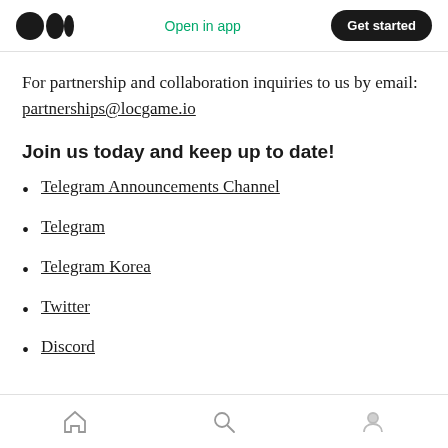Open in app | Get started
For partnership and collaboration inquiries to us by email: partnerships@locgame.io
Join us today and keep up to date!
Telegram Announcements Channel
Telegram
Telegram Korea
Twitter
Discord
Home | Search | Profile